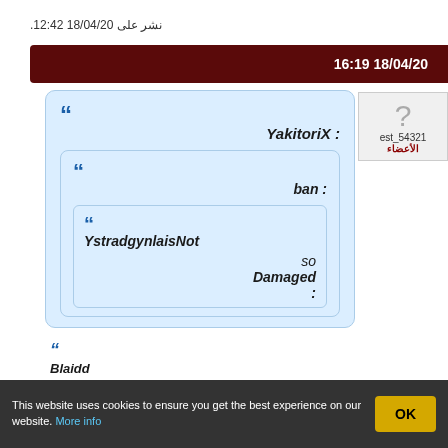نشر على 18/04/20 12:42.
18/04/20 16:19
[Figure (screenshot): User avatar placeholder with question mark, username est_54321, role الأعضاء]
YakitoriX :
ban :
YstradgynlaisNot
so
Damaged
:
Blaidd
This website uses cookies to ensure you get the best experience on our website. More info
OK